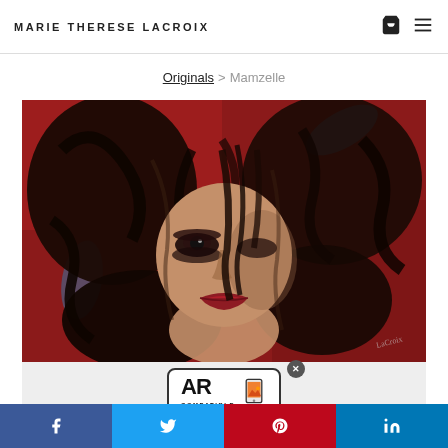MARIE THERESE LACROIX
Originals > Mamzelle
[Figure (photo): Painting titled 'Mamzelle' by Marie Therese Lacroix — a woman's face with flowing dark hair on a red background, dramatic makeup with dark eyes and red lips.]
[Figure (logo): AR Compatible badge with phone icon and close button]
Social share buttons: Facebook, Twitter, Pinterest, LinkedIn